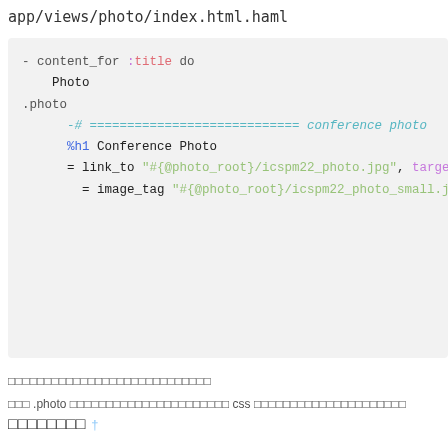app/views/photo/index.html.haml
[Figure (screenshot): Code block showing HAML template file app/views/photo/index.html.haml with syntax highlighting. Contains: content_for :title do / Photo / .photo / -# ============================ conference photo / %h1 Conference Photo / = link_to "#{@photo_root}/icspm22_photo.jpg", target: / = image_tag "#{@photo_root}/icspm22_photo_small.jp]
□□□□□□□□□□□□□□□□□□□□□□□□□□□□
□□□ .photo □□□□□□□□□□□□□□□□□□□□□□ css □□□□□□□□□□□□□□□□□□□□□
□□□□□□□□ †